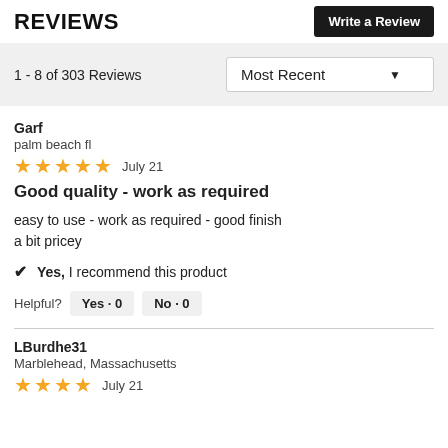REVIEWS
1 - 8 of 303 Reviews
Most Recent
Garf
palm beach fl
★★★★★  July 21
Good quality - work as required
easy to use - work as required - good finish
a bit pricey
✔  Yes, I recommend this product
Helpful?   Yes · 0   No · 0
LBurdhe31
Marblehead, Massachusetts
★★★★  July 21